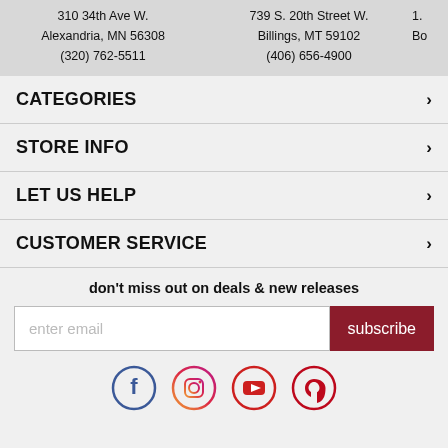310 34th Ave W.
Alexandria, MN 56308
(320) 762-5511
739 S. 20th Street W.
Billings, MT 59102
(406) 656-4900
Bo
CATEGORIES
STORE INFO
LET US HELP
CUSTOMER SERVICE
don't miss out on deals & new releases
enter email
subscribe
[Figure (other): Social media icons: Facebook, Instagram, YouTube, Pinterest]